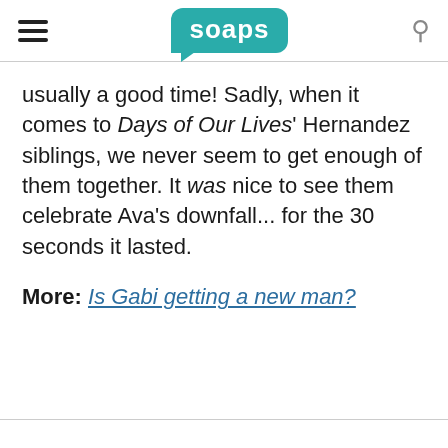soaps
usually a good time! Sadly, when it comes to Days of Our Lives' Hernandez siblings, we never seem to get enough of them together. It was nice to see them celebrate Ava's downfall... for the 30 seconds it lasted.
More: Is Gabi getting a new man?